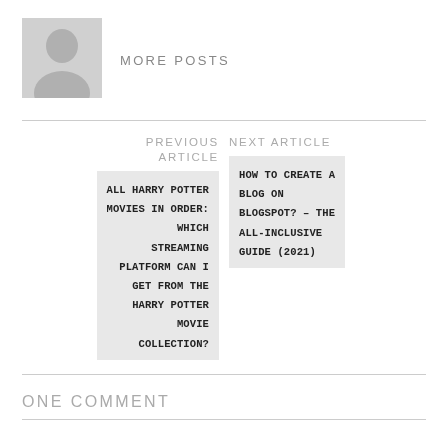[Figure (illustration): Gray silhouette avatar icon of a person]
MORE POSTS
PREVIOUS ARTICLE
ALL HARRY POTTER MOVIES IN ORDER: WHICH STREAMING PLATFORM CAN I GET FROM THE HARRY POTTER MOVIE COLLECTION?
NEXT ARTICLE
HOW TO CREATE A BLOG ON BLOGSPOT? – THE ALL-INCLUSIVE GUIDE (2021)
ONE COMMENT